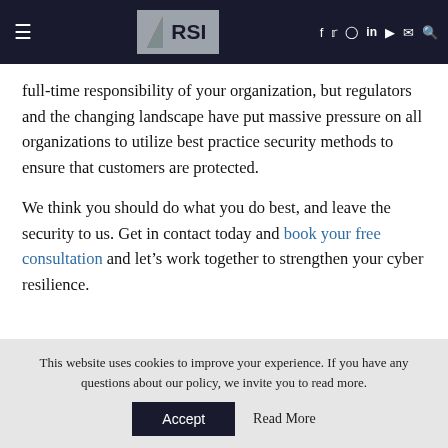RSI (navigation header with logo and icons)
full-time responsibility of your organization, but regulators and the changing landscape have put massive pressure on all organizations to utilize best practice security methods to ensure that customers are protected.
We think you should do what you do best, and leave the security to us. Get in contact today and book your free consultation and let’s work together to strengthen your cyber resilience.
This website uses cookies to improve your experience. If you have any questions about our policy, we invite you to read more.